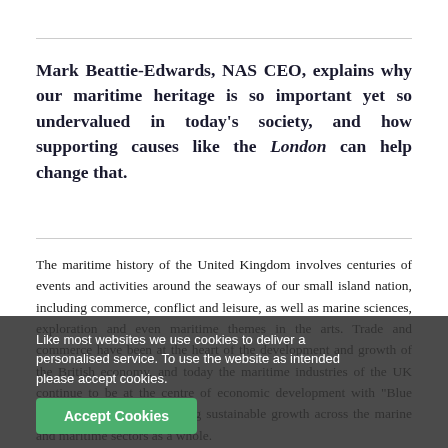Mark Beattie-Edwards, NAS CEO, explains why our maritime heritage is so important yet so undervalued in today's society, and how supporting causes like the London can help change that.
The maritime history of the United Kingdom involves centuries of events and activities around the seaways of our small island nation, including commerce, conflict and leisure, as well as marine sciences, exploration and even maritime themes in the arts. Trade and commerce have been at the heart of the development and growth of the British economy, and today the maritime industries of the UK continue to be at the centre of economic development with "Blue Growth" strategies supporting sustainable growth across the marine and maritime sectors as a whole.